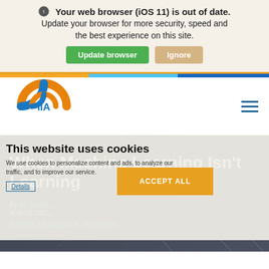Your web browser (iOS 11) is out of date. Update your browser for more security, speed and the best experience on this site. Update browser | Ignore
[Figure (logo): IIA (Institute of Internal Auditors) circular logo with blue and orange swirl design]
Navigation hamburger menu icon
HOME > COMMUNITY > BLOG
When Machine Learning Isn't Learning
By Bill Frankl... | April 10, 201...
Methods & Practices, AI, Technology
This website uses cookies
We use cookies to personalize content and ads, to analyze our traffic, and to improve our service.
Details
ACCEPT ALL